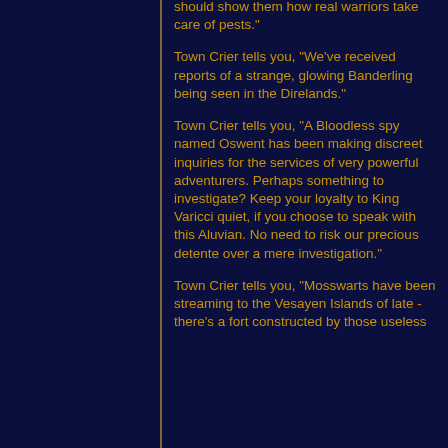should show them how real warriors take care of pests."
Town Crier tells you, "We've received reports of a strange, glowing Banderling being seen in the Direlands."
Town Crier tells you, "A Bloodless spy named Oswent has been making discreet inquiries for the services of very powerful adventurers. Perhaps something to investigate? Keep your loyalty to King Varicci quiet, if you choose to speak with this Aluvian. No need to risk our precious detente over a mere investigation."
Town Crier tells you, "Mosswarts have been streaming to the Vesayen Islands of late - there's a fort constructed by those useless